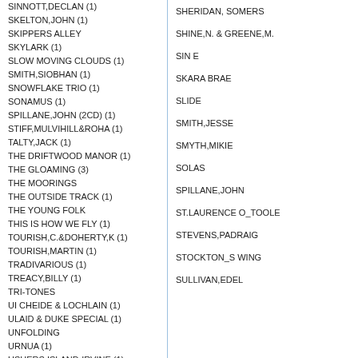SINNOTT,DECLAN (1)
SKELTON,JOHN (1)
SKIPPERS ALLEY
SKYLARK (1)
SLOW MOVING CLOUDS (1)
SMITH,SIOBHAN (1)
SNOWFLAKE TRIO (1)
SONAMUS (1)
SPILLANE,JOHN (2CD) (1)
STIFF,MULVIHILL&ROHA (1)
TALTY,JACK (1)
THE DRIFTWOOD MANOR (1)
THE GLOAMING (3)
THE MOORINGS
THE OUTSIDE TRACK (1)
THE YOUNG FOLK
THIS IS HOW WE FLY (1)
TOURISH,C.&DOHERTY,K (1)
TOURISH,MARTIN (1)
TRADIVARIOUS (1)
TREACY,BILLY (1)
TRI-TONES
UI CHEIDE & LOCHLAIN (1)
ULAID & DUKE SPECIAL (1)
UNFOLDING
URNUA (1)
USHERS ISLAND-IRVINE (1)
VIA A NEW HARVEST
SHERIDAN, SOMERS
SHINE,N. & GREENE,M.
SIN E
SKARA BRAE
SLIDE
SMITH,JESSE
SMYTH,MIKIE
SOLAS
SPILLANE,JOHN
ST.LAURENCE O_TOOLE
STEVENS,PADRAIG
STOCKTON_S WING
SULLIVAN,EDEL